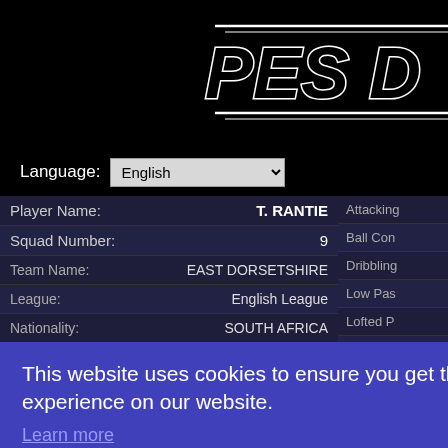[Figure (screenshot): PES Database website logo — white italic 'PES D' text with decorative lines on black background]
Language: English
| Field | Value |
| --- | --- |
| Player Name: | T. RANTIE |
| Squad Number: | 9 |
| Team Name: | EAST DORSETSHIRE |
| League: | English League |
| Nationality: | SOUTH AFRICA |
| Region: | Africa |
| Height: | 172 |
| Weight: | 68 |
| Age: | 25 |
| Foot: | Right foot |
| Position: | CF |
| Attribute |
| --- |
| Attacking |
| Ball Con |
| Dribbling |
| Low Pas |
| Lofted P |
| Finishing |
| Place Ki |
| Swerve: |
| Header: |
| Defensive |
| Ball Win |
This website uses cookies to ensure you get the best experience on our website.
Learn more
Got it!